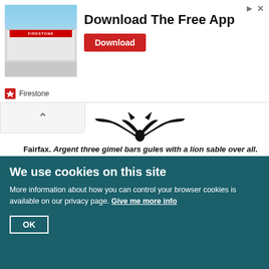[Figure (advertisement): Firestone auto service ad with building photo. Text: 'Download The Free App' with a red 'Download' button. Firestone logo at bottom left.]
[Figure (illustration): Heraldic bat-wing or bird silhouette in black, decorative crest image.]
Fairfax. Argent three gimel bars gules with a lion sable over all.
Shortly afterwards the manor passed into the possession of the Fairfax family. (fn. 49) In 1535 John Gascoigne conveyed it to Guy Fairfax, George Shaw (or Shay) and others, (fn. 50) who were probably trustees for William Fairfax of Steeton, the brother of Elizabeth. William Fairfax and George Shaw were in possession in 1545, when they sold the manor-house to William Dayvill. (fn. 51) In 1558 William Fairfax died seised of the manor. (fn. 52) His eldest son Guy was a lunatic, (fn. 53) and his natural heir would have been Thomas, his second son. (fn. 54) Thomas, however, was disinherited, and all the family
We use cookies on this site
More information about how you can control your browser cookies is available on our privacy page. Give me more info
OK